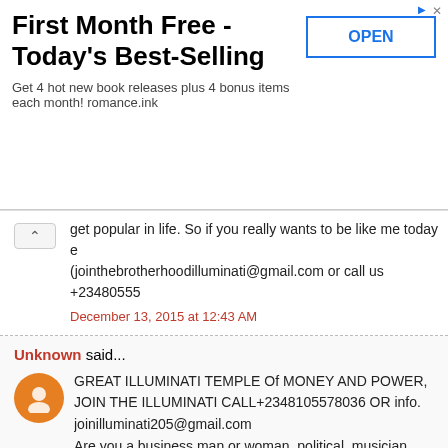[Figure (other): Advertisement banner: First Month Free - Today's Best-Selling. Get 4 hot new book releases plus 4 bonus items each month! romance.ink. With OPEN button.]
get popular in life. So if you really wants to be like me today e (jointhebrotherhoodilluminati@gmail.com or call us +23480555
December 13, 2015 at 12:43 AM
Unknown said...
GREAT ILLUMINATI TEMPLE Of MONEY AND POWER, JOIN THE ILLUMINATI CALL+2348105578036 OR info.joinilluminati205@gmail.com
Are you a business man or woman, political, musician, studen the you want to be rich, famous, powerful in life, join the Illumi today and get instant rich sum of. 1million dollars
in a week, and a free home. any where you choose to live in t 10,000,000 U.S dollars monthly as a salary...
BENEFITS GIVEN TO NEW MEMBERS WHO JOIN ILLUMIN A Cash Reward of USD $900,000 USD
A New Sleek Dream CAR valued at USD $800,000 USD
A Dream House bought in the country of your own choice